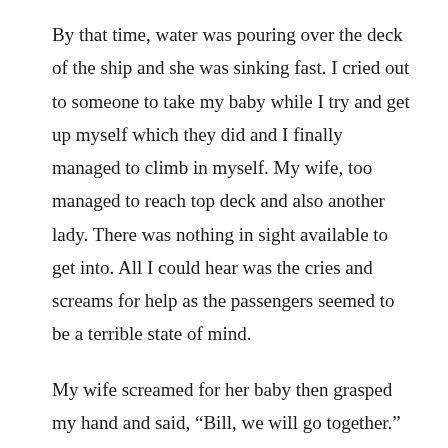By that time, water was pouring over the deck of the ship and she was sinking fast. I cried out to someone to take my baby while I try and get up myself which they did and I finally managed to climb in myself. My wife, too managed to reach top deck and also another lady. There was nothing in sight available to get into. All I could hear was the cries and screams for help as the passengers seemed to be a terrible state of mind.
My wife screamed for her baby then grasped my hand and said, “Bill, we will go together.” By then, the water was to our knees and was still rising. A sea broke over us and we were separated from one another. From that moment, I never saw my wife